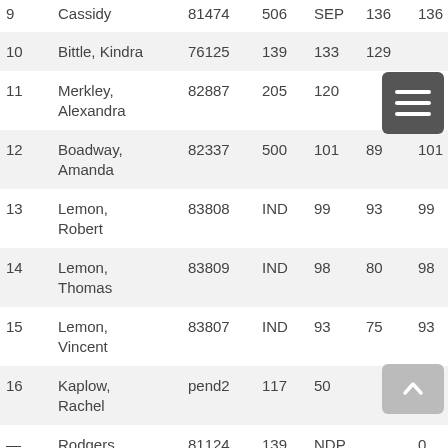| # | Name | ID | Col4 | Col5 | Col6 | Col7 |
| --- | --- | --- | --- | --- | --- | --- |
| 9 | Cassidy | 81474 | 506 | SEP | 136 | 136 | 71 |
| 10 | Bittle, Kindra | 76125 | 139 | 133 | 129 |  | 71 |
| 11 | Merkley, Alexandra | 82887 | 205 | 120 |  | 120 | 71 |
| 12 | Boadway, Amanda | 82337 | 500 | 101 | 89 | 101 | 71 |
| 13 | Lemon, Robert | 83808 | IND | 99 | 93 | 99 | 71 |
| 14 | Lemon, Thomas | 83809 | IND | 98 | 80 | 98 | 71 |
| 15 | Lemon, Vincent | 83807 | IND | 93 | 75 | 93 | 71 |
| 16 | Kaplow, Rachel | pend2 | 117 | 50 |  | 50 | 71 |
| — | Rodgers, Anita | 81124 | 139 | NDP |  | 0 | 0 |
|  | Wickart |  |  |  |  |  |  |